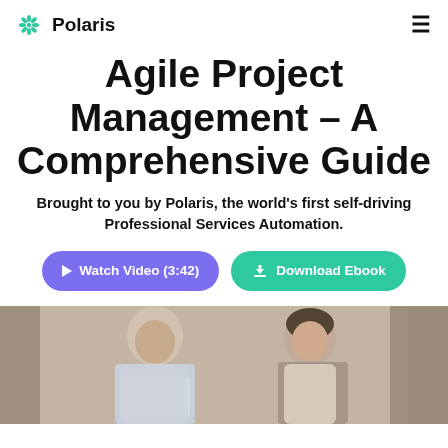Polaris
Agile Project Management – A Comprehensive Guide
Brought to you by Polaris, the world's first self-driving Professional Services Automation.
[Figure (other): Watch Video (3:42) and Download Ebook buttons]
[Figure (photo): Two people working on laptops, smiling, in a casual office setting]